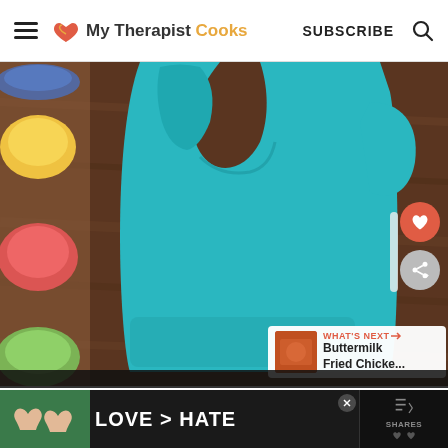My Therapist Cooks — SUBSCRIBE
[Figure (photo): A teal/turquoise silicone baby bib laid flat on a dark wood surface, with colorful bowls of puréed food (yellow, red, green) visible on the left side. Social action buttons (heart and share) visible on the right. A 'What's Next' thumbnail for Buttermilk Fried Chicken is shown at bottom right.]
[Figure (photo): Ad banner showing hands forming a heart shape with text LOVE > HATE]
WHAT'S NEXT →
Buttermilk Fried Chicke...
LOVE > HATE